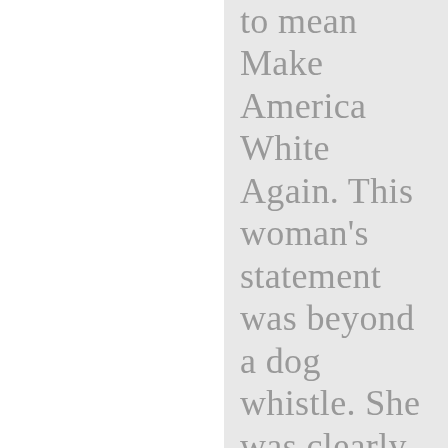to mean Make America White Again. This woman's statement was beyond a dog whistle. She was clearly signaling to her Muslim